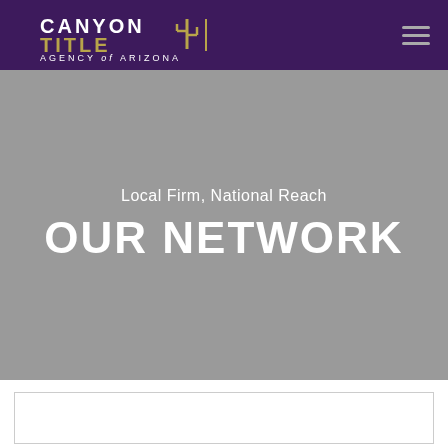Canyon Title Agency of Arizona
Local Firm, National Reach
OUR NETWORK